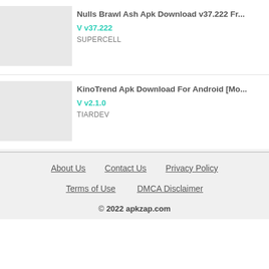Nulls Brawl Ash Apk Download v37.222 Fr...
V v37.222
SUPERCELL
KinoTrend Apk Download For Android [Mo...
V v2.1.0
TIARDEV
About Us   Contact Us   Privacy Policy   Terms of Use   DMCA Disclaimer   © 2022 apkzap.com